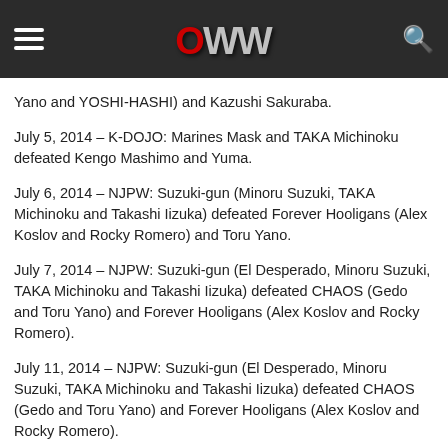OWW navigation bar
Yano and YOSHI-HASHI) and Kazushi Sakuraba.
July 5, 2014 – K-DOJO: Marines Mask and TAKA Michinoku defeated Kengo Mashimo and Yuma.
July 6, 2014 – NJPW: Suzuki-gun (Minoru Suzuki, TAKA Michinoku and Takashi Iizuka) defeated Forever Hooligans (Alex Koslov and Rocky Romero) and Toru Yano.
July 7, 2014 – NJPW: Suzuki-gun (El Desperado, Minoru Suzuki, TAKA Michinoku and Takashi Iizuka) defeated CHAOS (Gedo and Toru Yano) and Forever Hooligans (Alex Koslov and Rocky Romero).
July 11, 2014 – NJPW: Suzuki-gun (El Desperado, Minoru Suzuki, TAKA Michinoku and Takashi Iizuka) defeated CHAOS (Gedo and Toru Yano) and Forever Hooligans (Alex Koslov and Rocky Romero).